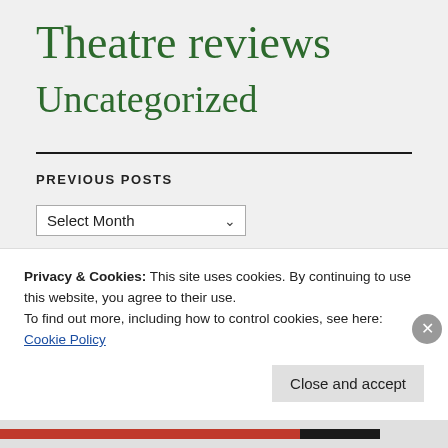Theatre reviews
Uncategorized
PREVIOUS POSTS
Select Month
Privacy & Cookies: This site uses cookies. By continuing to use this website, you agree to their use.
To find out more, including how to control cookies, see here:
Cookie Policy
Close and accept